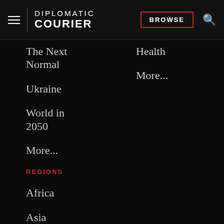DIPLOMATIC COURIER | BROWSE
The Next Normal
Ukraine
World in 2050
More...
REGIONS
Africa
Asia
Central Asia
Europe
Global
Health
More...